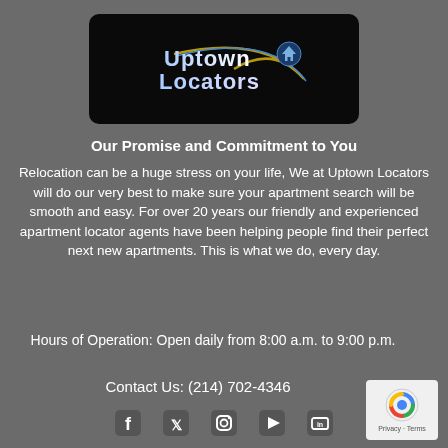[Figure (logo): Uptown Locators logo: white and blue stylized text with a circular home icon and swooping arc on black background]
Our Promise and Commitment to You
Relocation can be a huge stress on your life, We at Uptown Locators will do our very best to make sure your apartment search will be smooth and easy. For over 20 years our friendly and experienced apartment locator agents have been helping people find their perfect next new apartments. This is what we do, every day.
Hours of Operation: Open daily from 8:00 a.m. to 9:00 p.m.
Contact Us: (214) 702-4346
[Figure (illustration): Social media icons: Facebook, Twitter, Instagram, YouTube, LinkedIn]
[Figure (logo): reCAPTCHA badge with Privacy and Terms text]